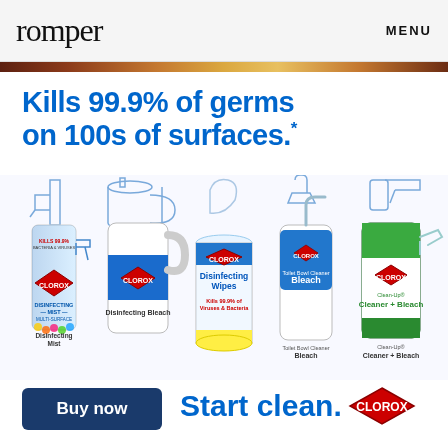romper    MENU
Kills 99.9% of germs on 100s of surfaces.*
[Figure (photo): Five Clorox cleaning products lined up: Disinfecting Mist Multi-Surface spray bottle, Disinfecting Bleach jug, Disinfecting Wipes canister (Kills 99.9% of Viruses & Bacteria), Toilet Bowl Cleaner Bleach bottle, and Clean-Up Cleaner + Bleach trigger spray bottle. Line drawings of each product appear above the actual products.]
Buy now
Start clean. CLOROX